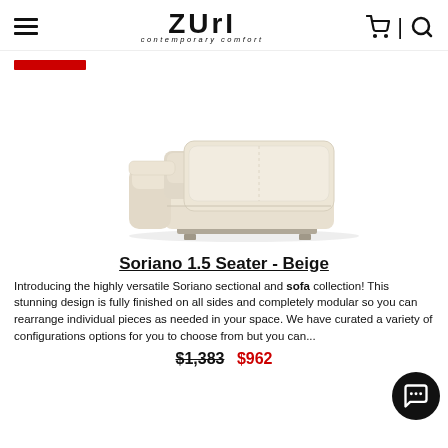ZURI contemporary comfort — navigation header with hamburger menu, cart icon, and search icon
[Figure (photo): Beige Soriano 1.5 Seater armchair/sofa with wide seat, low back, rectangular cushion, and chrome base legs, photographed on white background]
Soriano 1.5 Seater - Beige
Introducing the highly versatile Soriano sectional and sofa collection! This stunning design is fully finished on all sides and completely modular so you can rearrange individual pieces as needed in your space. We have curated a variety of configurations options for you to choose from but you can...
$1,383  $962